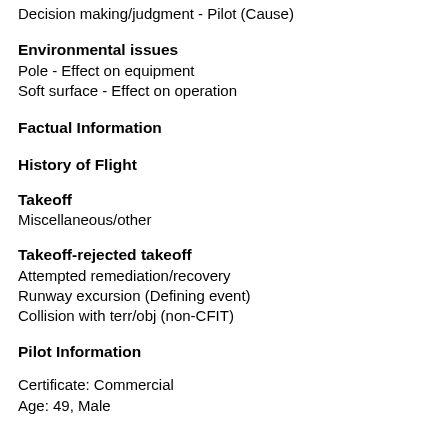Decision making/judgment - Pilot (Cause)
Environmental issues
Pole - Effect on equipment
Soft surface - Effect on operation
Factual Information
History of Flight
Takeoff
Miscellaneous/other
Takeoff-rejected takeoff
Attempted remediation/recovery
Runway excursion (Defining event)
Collision with terr/obj (non-CFIT)
Pilot Information
Certificate: Commercial
Age: 49, Male